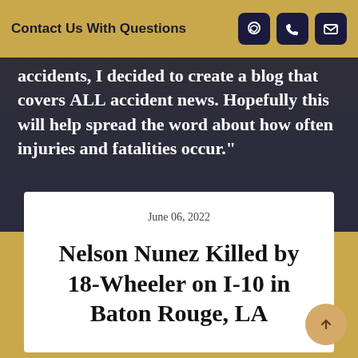Contact Us With Questions
accidents, I decided to create a blog that covers ALL accident news. Hopefully this will help spread the word about how often injuries and fatalities occur."
June 06, 2022
Nelson Nunez Killed by 18-Wheeler on I-10 in Baton Rouge, LA